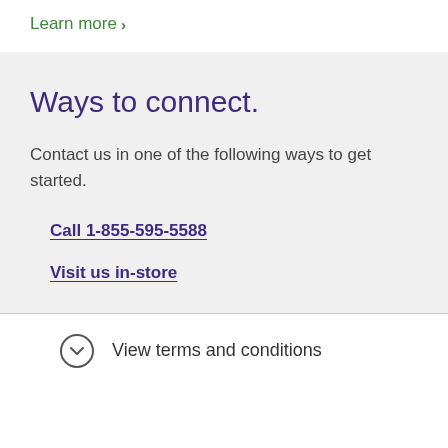Learn more >
Ways to connect.
Contact us in one of the following ways to get started.
Call 1-855-595-5588
Visit us in-store
View terms and conditions